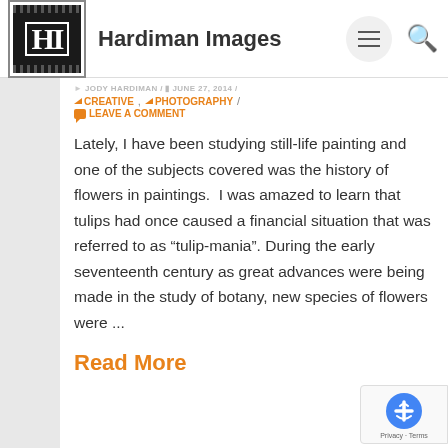Hardiman Images
JODY HARDIMAN / JUNE 27, 2014 / CREATIVE, PHOTOGRAPHY / LEAVE A COMMENT
Lately, I have been studying still-life painting and one of the subjects covered was the history of flowers in paintings.  I was amazed to learn that tulips had once caused a financial situation that was referred to as “tulip-mania”. During the early seventeenth century as great advances were being made in the study of botany, new species of flowers were ...
Read More